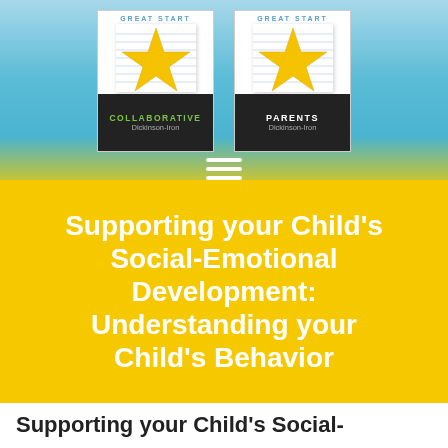[Figure (logo): Two 'Great Start' logos side by side — 'Great Start Collaborative Dickinson-Iron' and 'Great Start Parents Dickinson-Iron' — each featuring a yellow star on a dark background, set against a light blue gradient header with a hamburger menu icon below.]
Supporting your Child's Social-Emotional Development: Understanding your Child's Behavior
Supporting your Child's Social-